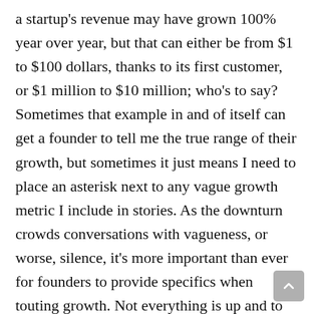a startup's revenue may have grown 100% year over year, but that can either be from $1 to $100 dollars, thanks to its first customer, or $1 million to $10 million; who's to say? Sometimes that example in and of itself can get a founder to tell me the true range of their growth, but sometimes it just means I need to place an asterisk next to any vague growth metric I include in stories. As the downturn crowds conversations with vagueness, or worse, silence, it's more important than ever for founders to provide specifics when touting growth. Not everything is up and to the right, and it's finally okay to say that out loud.